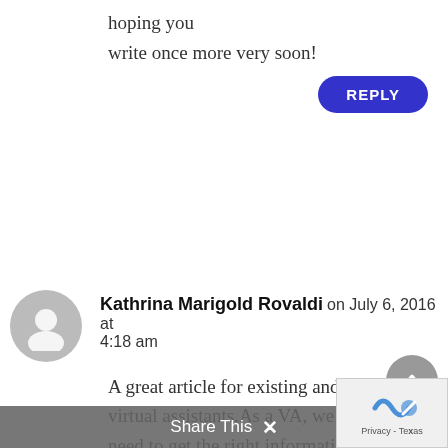hoping you
write once more very soon!
REPLY
Kathrina Marigold Rovaldi on July 6, 2016 at 4:18 am
A great article for existing and new virtual assistants.As a VA, we simply need to get the right information from the client so we can have excellent communication with them. This means getting the best time to reach them, when can I expect them to be
Share This